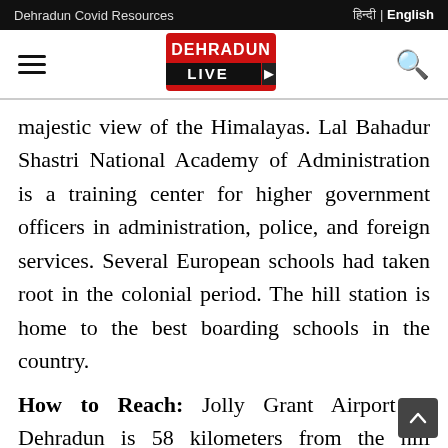Dehradun Covid Resources | हिन्दी | English
[Figure (logo): Dehradun Live logo — red rectangle with white text DEHRADUN on top and LIVE in white on dark banner below, with a film clapperboard icon]
majestic view of the Himalayas. Lal Bahadur Shastri National Academy of Administration is a training center for higher government officers in administration, police, and foreign services. Several European schools had taken root in the colonial period. The hill station is home to the best boarding schools in the country.
How to Reach: Jolly Grant Airport at Dehradun is 58 kilometers from the hill station, and Dehradun (34 Km) is the nearest railhead from Mussoorie. Inter-state buses ply from Library Bus Station and Picture Point. Buses also operate from Dehradun.